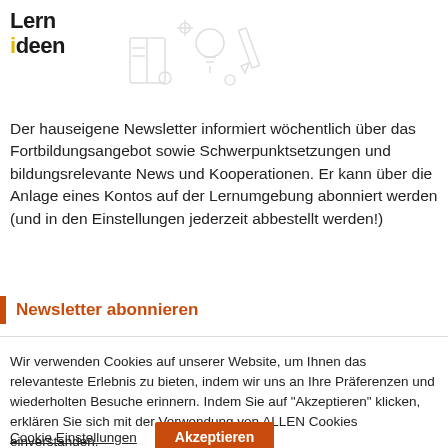[Figure (logo): Lern Ideen logo with yellow dot accent and faint illustration of educational icons]
Der hauseigene Newsletter informiert wöchentlich über das Fortbildungsangebot sowie Schwerpunktsetzungen und bildungsrelevante News und Kooperationen. Er kann über die Anlage eines Kontos auf der Lernumgebung abonniert werden (und in den Einstellungen jederzeit abbestellt werden!)
Newsletter abonnieren
Wir verwenden Cookies auf unserer Website, um Ihnen das relevanteste Erlebnis zu bieten, indem wir uns an Ihre Präferenzen und wiederholten Besuche erinnern. Indem Sie auf "Akzeptieren" klicken, erklären Sie sich mit der Verwendung von ALLEN Cookies einverstanden.
Cookie Einstellungen | Akzeptieren